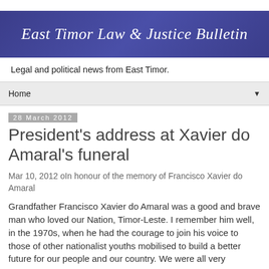East Timor Law & Justice Bulletin
Legal and political news from East Timor.
Home
28 March 2012
President's address at Xavier do Amaral's funeral
Mar 10, 2012 oIn honour of the memory of Francisco Xavier do Amaral
Grandfather Francisco Xavier do Amaral was a good and brave man who loved our Nation, Timor-Leste. I remember him well, in the 1970s, when he had the courage to join his voice to those of other nationalist youths mobilised to build a better future for our people and our country. We were all very